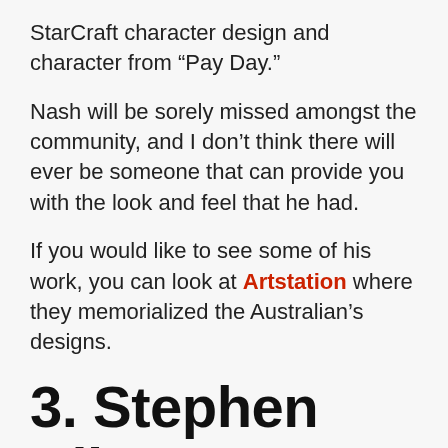StarCraft character design and character from “Pay Day.”
Nash will be sorely missed amongst the community, and I don’t think there will ever be someone that can provide you with the look and feel that he had.
If you would like to see some of his work, you can look at Artstation where they memorialized the Australian’s designs.
3. Stephen Bliss